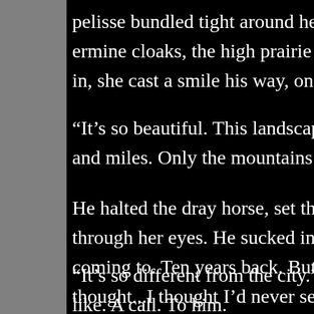pelisse bundled tight around her. She leaned on the ermine cloaks, the high prairie encased in its diamond in, she cast a smile his way, one he could not help b
“It’s so beautiful. This landscape. It’s remarkable, qu and miles. Only the mountains and rivers and the pr
He halted the dray horse, set the brake, and jumped through her eyes. He sucked in the fresh air, his han coming to. Ten years back. But I had read lots. It wa thought...I thought I’d never seen anything so beauti
“It’s so different from the city.”Her voice had a note o like. A call. To him.